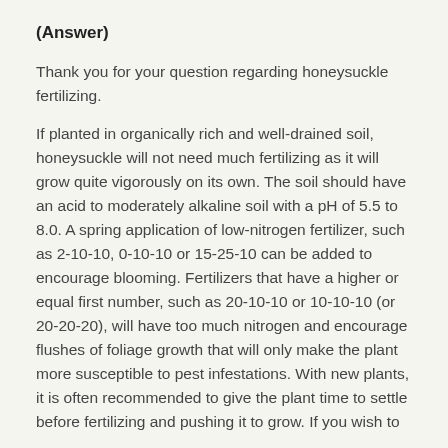(Answer)
Thank you for your question regarding honeysuckle fertilizing.
If planted in organically rich and well-drained soil, honeysuckle will not need much fertilizing as it will grow quite vigorously on its own. The soil should have an acid to moderately alkaline soil with a pH of 5.5 to 8.0. A spring application of low-nitrogen fertilizer, such as 2-10-10, 0-10-10 or 15-25-10 can be added to encourage blooming. Fertilizers that have a higher or equal first number, such as 20-10-10 or 10-10-10 (or 20-20-20), will have too much nitrogen and encourage flushes of foliage growth that will only make the plant more susceptible to pest infestations. With new plants, it is often recommended to give the plant time to settle before fertilizing and pushing it to grow. If you wish to